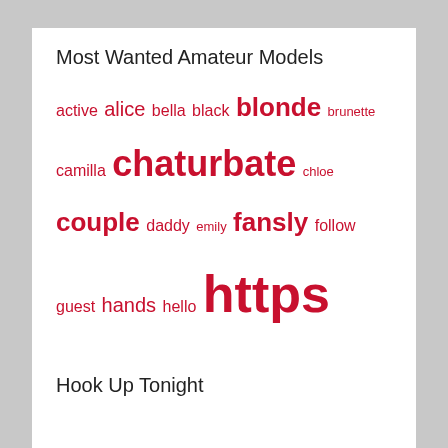Most Wanted Amateur Models
[Figure (infographic): Tag cloud with words of varying sizes in red/pink: active, alice, bella, black, blonde, brunette, camilla, chaturbate, chloe, couple, daddy, emily, fansly, follow, guest, hands, hello, https, husband, instagram, julia, kevin, kristine, lovense, lucky, maria, masha, megan, melissa, moscow, neighbor, online, onlyfans, pleasure, private, safinna, sarah, sofia, start, stream, taylor, twitter, videos, welcome, years]
Hook Up Tonight